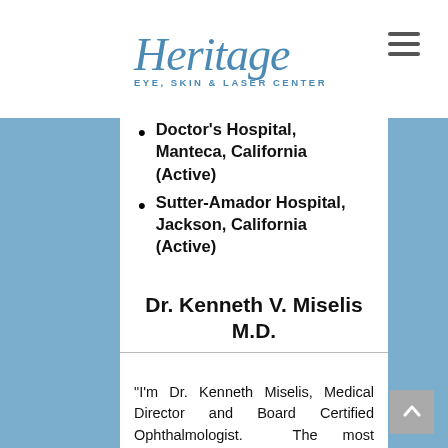Heritage Eye, Skin & Laser Center
Doctor's Hospital, Manteca, California (Active)
Sutter-Amador Hospital, Jackson, California (Active)
Dr. Kenneth V. Miselis M.D.
“I’m Dr. Kenneth Miselis, Medical Director and Board Certified Ophthalmologist. The most rewarding part of what I do, and the reason I chose to specialize in the eyes is changing patients’ lives for the better. Restoring eyesight, whether its prescribing glasses to